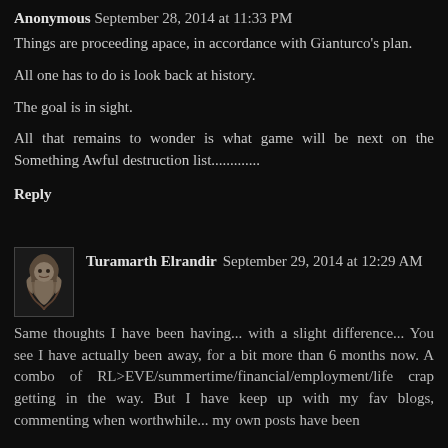Anonymous September 28, 2014 at 11:33 PM
Things are proceeding apace, in accordance with Gianturco's plan.
All one has to do is look back at history.
The goal is in sight.
All that remains to wonder is what game will be next on the Something Awful destruction list...............
Reply
[Figure (photo): Small avatar photo of a bearded man with long hair]
Turamarth Elrandir September 29, 2014 at 12:29 AM
Same thoughts I have been having... with a slight difference... You see I have actually been away, for a bit more than 6 months now. A combo of RL>EVE/summertime/financial/employment/life crap getting in the way. But I have keep up with my fav blogs, commenting when worthwhile... my own posts have been